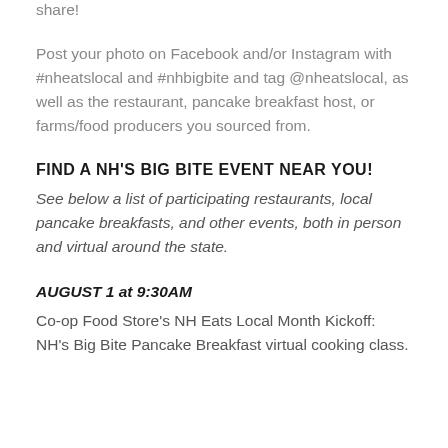share!
Post your photo on Facebook and/or Instagram with #nheatslocal and #nhbigbite and tag @nheatslocal, as well as the restaurant, pancake breakfast host, or farms/food producers you sourced from.
FIND A NH'S BIG BITE EVENT NEAR YOU!
See below a list of participating restaurants, local pancake breakfasts, and other events, both in person and virtual around the state.
AUGUST 1 at 9:30AM
Co-op Food Store's NH Eats Local Month Kickoff: NH's Big Bite Pancake Breakfast virtual cooking class.